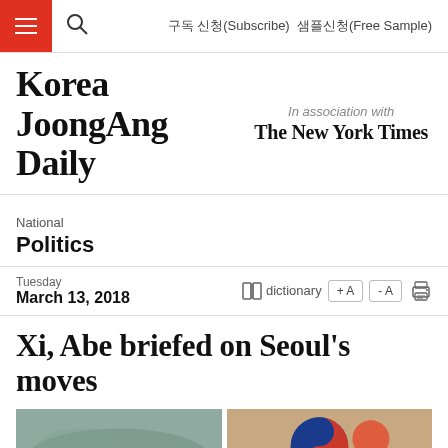구독 신청(Subscribe) 샘플신청(Free Sample)
Korea JoongAng Daily
In association with The New York Times
National
Politics
Tuesday
March 13, 2018
Xi, Abe briefed on Seoul's moves
[Figure (photo): Two photographs side by side below the headline]